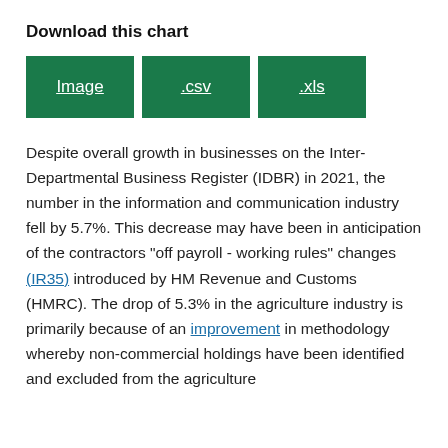Download this chart
[Figure (other): Three green download buttons labeled Image, .csv, and .xls]
Despite overall growth in businesses on the Inter-Departmental Business Register (IDBR) in 2021, the number in the information and communication industry fell by 5.7%. This decrease may have been in anticipation of the contractors "off payroll - working rules" changes (IR35) introduced by HM Revenue and Customs (HMRC). The drop of 5.3% in the agriculture industry is primarily because of an improvement in methodology whereby non-commercial holdings have been identified and excluded from the agriculture